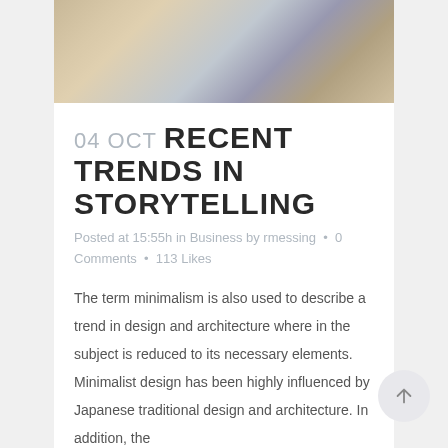[Figure (photo): Photo of a coffee cup with fabric/scarf, warm tones, Instagram-style filtered photo]
04 OCT RECENT TRENDS IN STORYTELLING
Posted at 15:55h in Business by rmessing • 0 Comments • 113 Likes
The term minimalism is also used to describe a trend in design and architecture where in the subject is reduced to its necessary elements. Minimalist design has been highly influenced by Japanese traditional design and architecture. In addition, the